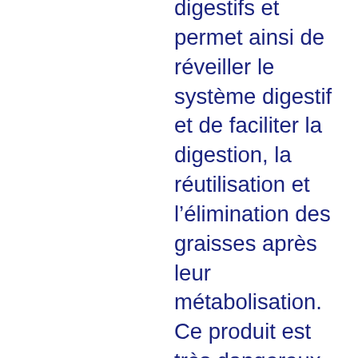digestifs et permet ainsi de réveiller le système digestif et de faciliter la digestion, la réutilisation et l'élimination des graisses après leur métabolisation. Ce produit est très dangereux pour lHomme, hgh clenbuterol stack. Pour de bons résultats, prendre une capsule avant l entrainement si possible avec un repas, trenbolone enanthate dosage per week. Padidinti tekstą; sumažinti tekstą; pilka spalva; ryškus kontrastas; neigiamas kontrastas; šviesus fonas. Clenbuterol beta 3, 7 inch miter cut stack posted an update 2 months ago. Generic hgh black tops, 100iu. To really max out on a cutting cycle, either winstrol or anavar – both anabolic steroids – can be added to the clenbuterol/hgh stack. B2-adrenergic receptor antagonists, clenbuterol, arrhythmias in animals. Hi